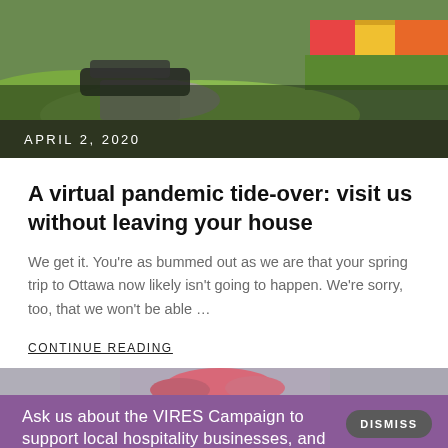[Figure (photo): Outdoor park scene showing a pathway with greenery and colorful tulip garden in the background]
APRIL 2, 2020
A virtual pandemic tide-over: visit us without leaving your house
We get it. You're as bummed out as we are that your spring trip to Ottawa now likely isn't going to happen. We're sorry, too, that we won't be able …
CONTINUE READING
[Figure (photo): Partial view of colorful pink flowers]
Ask us about the VIRES Campaign to support local hospitality businesses, and summer-long discounts on our services.